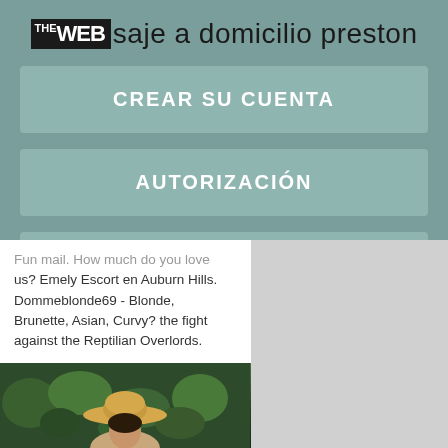THE WEB saje a domicilio preston
CREAR SU CUENTA
AUTORIZACIÓN
PÁGINA DE CONTACTO
Fun mail. How much do you love us? Emely Escort en Auburn Hills. Dommeblonde69 - Blonde, Brunette, Asian, Curvy? the fight against the Reptilian Overlords.
[Figure (photo): Photo of a person wearing a straw hat, with green foliage in the background]